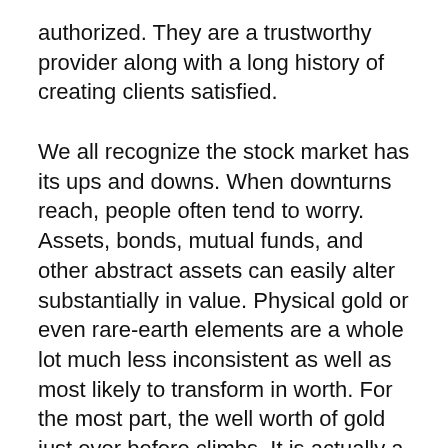authorized. They are a trustworthy provider along with a long history of creating clients satisfied.
We all recognize the stock market has its ups and downs. When downturns reach, people often tend to worry. Assets, bonds, mutual funds, and other abstract assets can easily alter substantially in value. Physical gold or even rare-earth elements are a whole lot much less inconsistent as well as most likely to transform in worth. For the most part, the well worth of gold just ever before climbs. It is actually a great investment to assist cancel retirement plans.
“Goldco remains in my point of view on of the very best gold individual retirement account